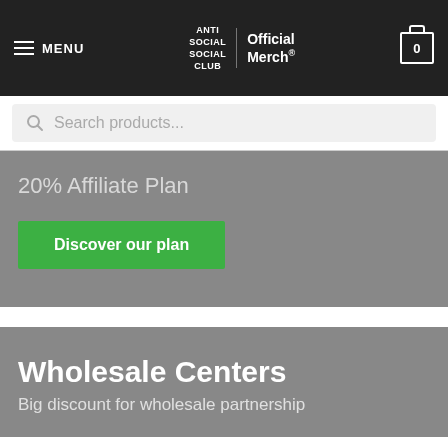MENU | ANTI SOCIAL SOCIAL CLUB Official Merch® | 0
Search products...
20% Affiliate Plan
Discover our plan
Wholesale Centers
Big discount for wholesale partnership